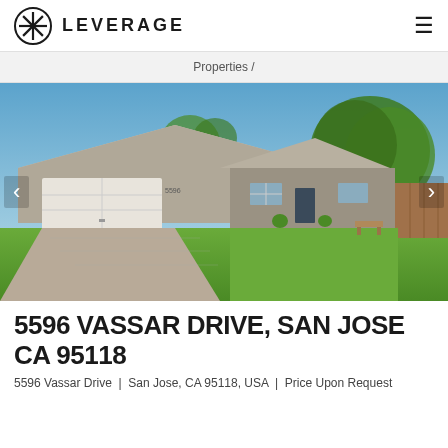LEVERAGE
Properties /
[Figure (photo): Exterior photo of a single-story ranch-style home at 5596 Vassar Drive, San Jose CA 95118. The house has gray siding, a large two-car garage with white doors, a paved driveway, a well-maintained green lawn, and a large mature tree on the right side. Blue sky in background.]
5596 VASSAR DRIVE, SAN JOSE CA 95118
5596 Vassar Drive  |  San Jose, CA 95118, USA  |  Price Upon Request